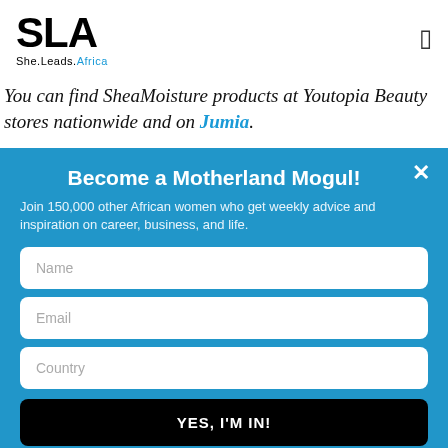SLA She.Leads.Africa
You can find SheaMoisture products at Youtopia Beauty stores nationwide and on Jumia.
Become a Motherland Mogul!
Join 150,000 other African women who get weekly advice and inspiration on career, business, and life.
Name
Email
Country
YES, I'M IN!